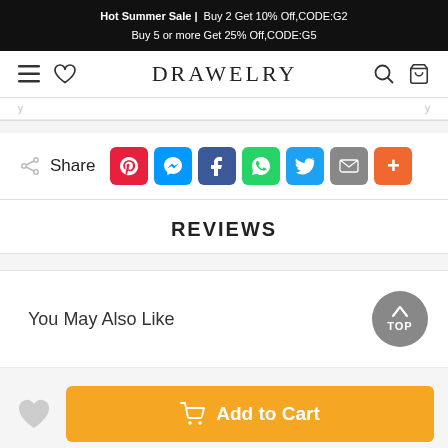Hot Summer Sale | Buy 2 Get 10% Off,CODE:G2 Buy 5 or more Get 25% Off,CODE:G5
[Figure (screenshot): DRAWELRY logo and navigation bar with hamburger menu, heart icon, search, and cart icons]
Share
[Figure (infographic): Social share buttons: Pinterest, Messenger, Facebook, WhatsApp, Twitter, Email, More]
REVIEWS
You May Also Like
[Figure (other): TOP button - circular gray button with up arrow and TOP text]
Add to Cart